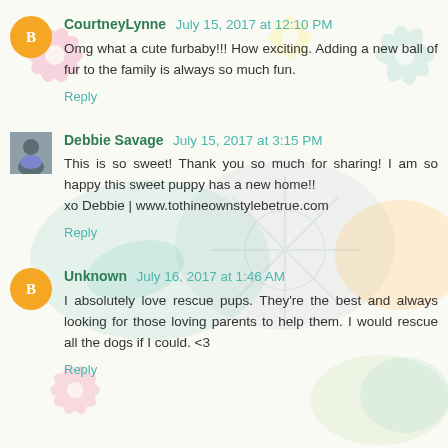CourtneyLynne July 15, 2017 at 12:10 PM — Omg what a cute furbaby!!! How exciting. Adding a new ball of fur to the family is always so much fun. Reply
Debbie Savage July 15, 2017 at 3:15 PM — This is so sweet! Thank you so much for sharing! I am so happy this sweet puppy has a new home!! xo Debbie | www.tothineownstylebetrue.com Reply
Unknown July 16, 2017 at 1:46 AM — I absolutely love rescue pups. They're the best and always looking for those loving parents to help them. I would rescue all the dogs if I could. <3 Reply